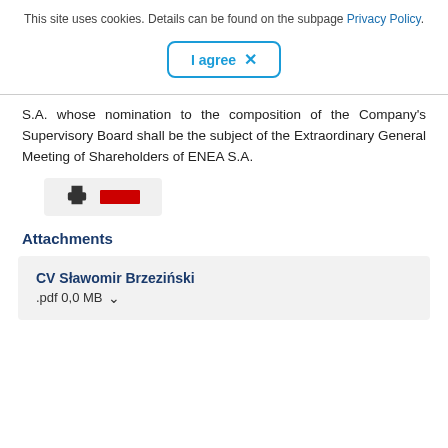This site uses cookies. Details can be found on the subpage Privacy Policy.
[Figure (other): I agree button with X mark, blue rounded rectangle border]
S.A. whose nomination to the composition of the Company's Supervisory Board shall be the subject of the Extraordinary General Meeting of Shareholders of ENEA S.A.
[Figure (other): Print icon and red language flag icon on grey background]
Attachments
CV Sławomir Brzeziński .pdf 0,0 MB